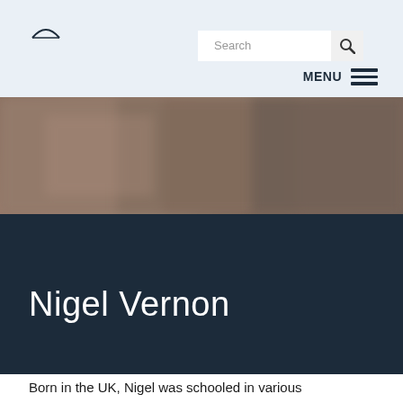Search  MENU
[Figure (photo): Blurred outdoor photo used as a banner/hero image background]
Nigel Vernon
Born in the UK, Nigel was schooled in various